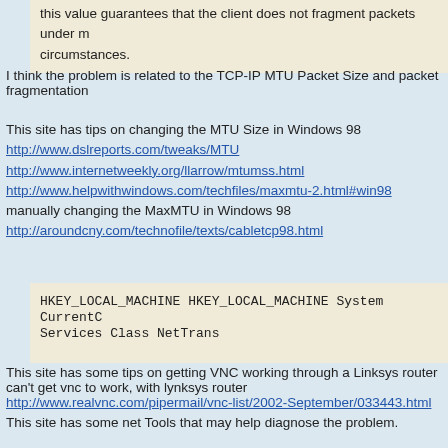this value guarantees that the client does not fragment packets under most circumstances.
I think the problem is related to the TCP-IP MTU Packet Size and packet fragmentation
This site has tips on changing the MTU Size in Windows 98
http://www.dslreports.com/tweaks/MTU
http://www.internetweekly.org/llarrow/mtumss.html
http://www.helpwithwindows.com/techfiles/maxmtu-2.html#win98
manually changing the MaxMTU in Windows 98
http://aroundcny.com/technofile/texts/cabletcp98.html
HKEY_LOCAL_MACHINE HKEY_LOCAL_MACHINE System CurrentControlSet Services Class NetTrans
This site has some tips on getting VNC working through a Linksys router if you can't get vnc to work, with lynksys router
http://www.realvnc.com/pipermail/vnc-list/2002-September/033443.html
This site has some net Tools that may help diagnose the problem.